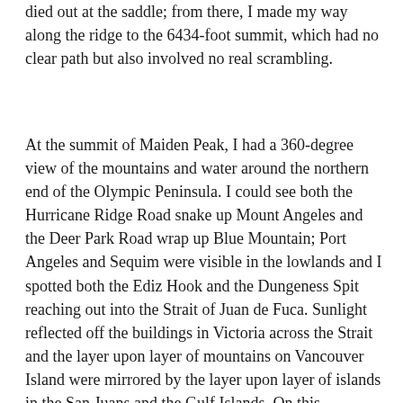died out at the saddle; from there, I made my way along the ridge to the 6434-foot summit, which had no clear path but also involved no real scrambling.
At the summit of Maiden Peak, I had a 360-degree view of the mountains and water around the northern end of the Olympic Peninsula. I could see both the Hurricane Ridge Road snake up Mount Angeles and the Deer Park Road wrap up Blue Mountain; Port Angeles and Sequim were visible in the lowlands and I spotted both the Ediz Hook and the Dungeness Spit reaching out into the Strait of Juan de Fuca. Sunlight reflected off the buildings in Victoria across the Strait and the layer upon layer of mountains on Vancouver Island were mirrored by the layer upon layer of islands in the San Juans and the Gulf Islands. On this exceptionally clear day, I was able to make out the entrance to the Howe Sound and the forms of Mount Tantalus and Mount Garibaldi, both north of Vancouver; stateside, I could see the cliffs on Whidbey Island and the Boeing factory north of Everett in the lowlands. Mounts Baker and Shuksan were easily recognizable in the Cascades, while the serrated alpine ridge of Eldorado Peak was more difficult to discern.